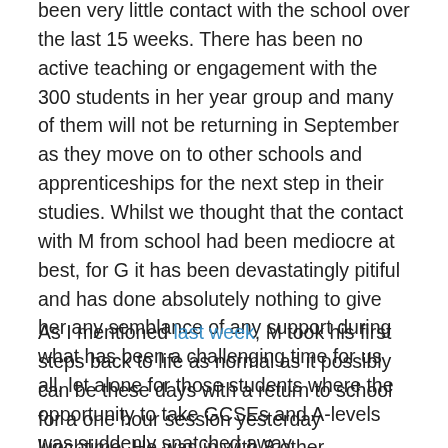been very little contact with the school over the last 15 weeks. There has been no active teaching or engagement with the 300 students in her year group and many of them will not be returning in September as they move on to other schools and apprenticeships for the next step in their studies. Whilst we thought that the contact with M from school had been mediocre at best, for G it has been devastatingly pitiful and has done absolutely nothing to give her any semblance of any support during what has been a challenging time for us all, let alone for those students where the opportunity to take GCSEs and A-levels was suddenly snatched away.
As I mentioned last week, M took his first steps back to life as normal as it possibly can be these days with a return to school for a one hour session yesterday lunchtime. He was in with 8 other members of his tutor group, including 2